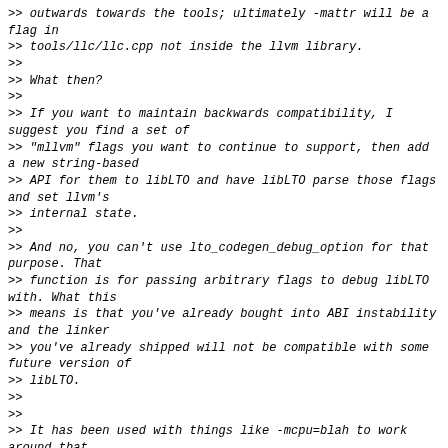>> outwards towards the tools; ultimately -mattr will be a flag in
>> tools/llc/llc.cpp not inside the llvm library.
>>
>> What then?
>>
>> If you want to maintain backwards compatibility, I suggest you find a set of
>> "mllvm" flags you want to continue to support, then add a new string-based
>> API for them to libLTO and have libLTO parse those flags and set llvm's
>> internal state.
>>
>> And no, you can't use lto_codegen_debug_option for that purpose. That
>> function is for passing arbitrary flags to debug libLTO with. What this
>> means is that you've already bought into ABI instability and the linker
>> you've already shipped will not be compatible with some future version of
>> libLTO.
>>
>>
>> It has been used with things like -mcpu=blah to work around that
>> information not being recorded in the bitcode files.
>>>
>>>
>>> I understand that a string interface by passes any